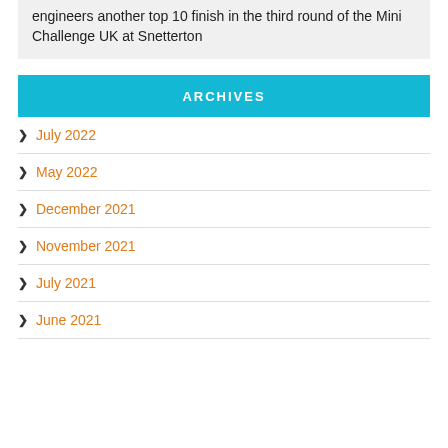engineers another top 10 finish in the third round of the Mini Challenge UK at Snetterton
ARCHIVES
July 2022
May 2022
December 2021
November 2021
July 2021
June 2021